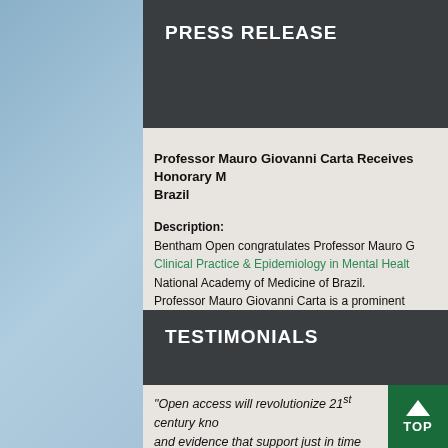PRESS RELEASE
Professor Mauro Giovanni Carta Receives Honorary M... Brazil
Description:
Bentham Open congratulates Professor Mauro G... Clinical Practice & Epidemiology in Mental Health... National Academy of Medicine of Brazil.
Professor Mauro Giovanni Carta is a prominent... having published more than 200 publications in... various key positions in the University of Caglia...
TESTIMONIALS
"Open access will revolutionize 21st century kno... and evidence that support just in time learnin... disciplines."